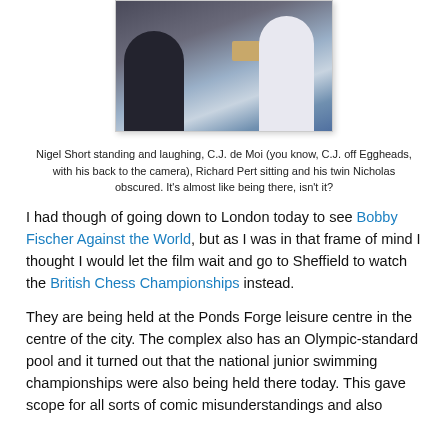[Figure (photo): A photograph of chess players at the British Chess Championships. Nigel Short is standing and laughing, C.J. de Moi has his back to the camera, Richard Pert is sitting, and his twin Nicholas is obscured. A chess board and table are visible in the background.]
Nigel Short standing and laughing, C.J. de Moi (you know, C.J. off Eggheads, with his back to the camera), Richard Pert sitting and his twin Nicholas obscured. It's almost like being there, isn't it?
I had though of going down to London today to see Bobby Fischer Against the World, but as I was in that frame of mind I thought I would let the film wait and go to Sheffield to watch the British Chess Championships instead.
They are being held at the Ponds Forge leisure centre in the centre of the city. The complex also has an Olympic-standard pool and it turned out that the national junior swimming championships were also being held there today. This gave scope for all sorts of comic misunderstandings and also